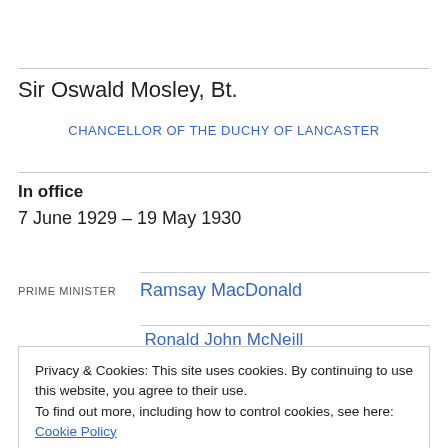Sir Oswald Mosley, Bt.
CHANCELLOR OF THE DUCHY OF LANCASTER
In office
7 June 1929 – 19 May 1930
PRIME MINISTER   Ramsay MacDonald
Privacy & Cookies: This site uses cookies. By continuing to use this website, you agree to their use.
To find out more, including how to control cookies, see here: Cookie Policy
Close and accept